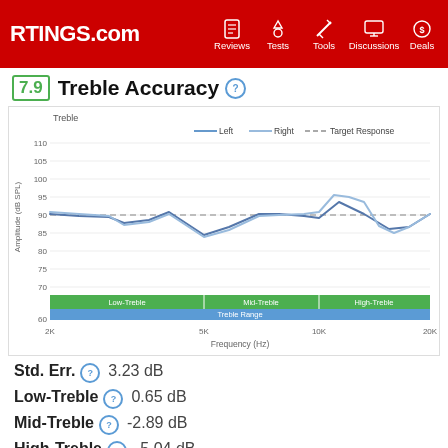RTINGS.com | Reviews | Tests | Tools | Discussions | Deals
7.9 Treble Accuracy
[Figure (continuous-plot): Treble frequency response chart showing Left and Right channel curves and Target Response dashed line. Y-axis: Amplitude (dB SPL) from 60 to 110. X-axis: Frequency (Hz) from 2K to 20K. Left and Right channels start around 92 dB, dip to ~88 in mid range, peak around 93 at 4K, drop to ~82 at 5K, recover to ~90 at 7K, then diverge significantly with Right peaking near 95 at 9K and dropping to ~80 at 17K, while Left drops more gradually. Target Response is a dashed line at 90 dB. Green bands show Low-Treble, Mid-Treble, High-Treble ranges. Blue band shows Treble Range.]
Std. Err. 3.23 dB
Low-Treble 0.65 dB
Mid-Treble -2.89 dB
High-Treble -5.04 dB